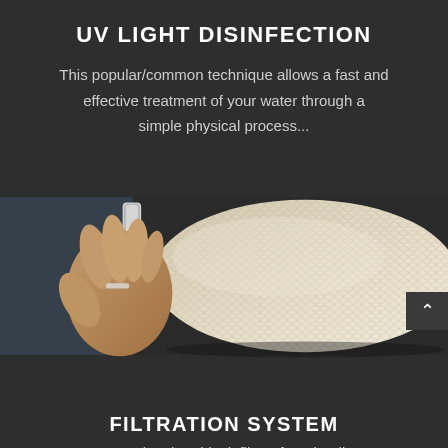UV LIGHT DISINFECTION
This popular/common technique allows a fast and effective treatment of your water through a simple physical process...
[Figure (photo): A hand holding a cylindrical water filter cartridge with a honeycomb/mesh texture surface, with a metal ring at the top.]
FILTRATION SYSTEM
Patented carbon block filters from leading